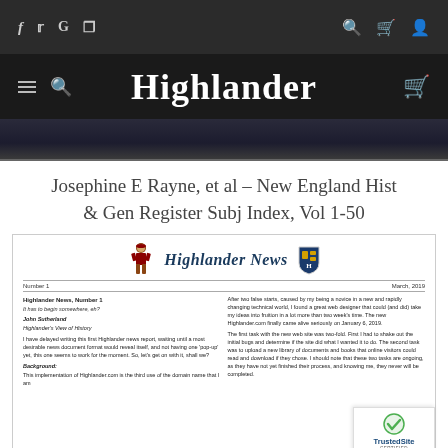Highlander - social and navigation header
[Figure (screenshot): Dark image strip showing fabric/tartan texture]
Josephine E Rayne, et al – New England Hist & Gen Register Subj Index, Vol 1-50
[Figure (screenshot): Highlander News newsletter preview showing Number 1, March 2019, with mascot and shield logo, two-column article text about Highlander News Number 1 by John Sutherland and background text on Highlander.com]
[Figure (logo): TrustedSite Certified Secure badge]